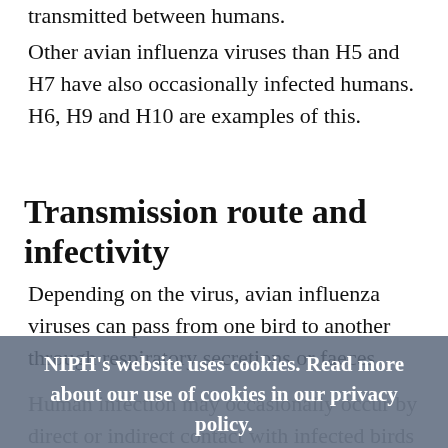transmitted between humans.
Other avian influenza viruses than H5 and H7 have also occasionally infected humans. H6, H9 and H10 are examples of this.
Transmission route and infectivity
Depending on the virus, avian influenza viruses can pass from one bird to another through respiratory secretions or faeces.
Human infection may occasionally occur by direct or indirect contact with infected birds or their respiratory secretions or faeces. Theoretically, some viruses can also infect humans via …s, but heat treatment at 70 °C (cooking, frying and grilling) of eggs and meat kills the virus.
NIPH's website uses cookies. Read more about our use of cookies in our privacy policy.